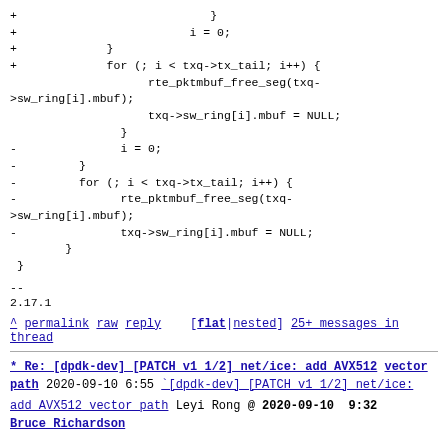+ }
+                         i = 0;
+             }
+             for (; i < txq->tx_tail; i++) {
                        rte_pktmbuf_free_seg(txq->sw_ring[i].mbuf);
                        txq->sw_ring[i].mbuf = NULL;
                }
-               i = 0;
-         }
-         for (; i < txq->tx_tail; i++) {
-               rte_pktmbuf_free_seg(txq-
>sw_ring[i].mbuf);
-               txq->sw_ring[i].mbuf = NULL;
        }
 }
--
2.17.1
^ permalink raw reply  [flat|nested] 25+ messages in thread
* Re: [dpdk-dev] [PATCH v1 1/2] net/ice: add AVX512 vector path
  2020-09-10  6:55  [dpdk-dev] [PATCH v1 1/2] net/ice: add AVX512 vector path Leyi Rong
@ 2020-09-10  9:32    Bruce Richardson